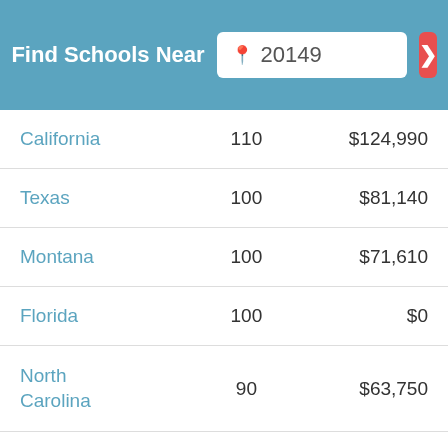[Figure (screenshot): Header bar with 'Find Schools Near' label, zip code input showing '20149', and red arrow button]
| California | 110 | $124,990 |
| Texas | 100 | $81,140 |
| Montana | 100 | $71,610 |
| Florida | 100 | $0 |
| North Carolina | 90 | $63,750 |
| Washington | 80 | $103,980 |
| Oregon | 80 | $96,170 |
| Wisconsin | 60 | $87,280 |